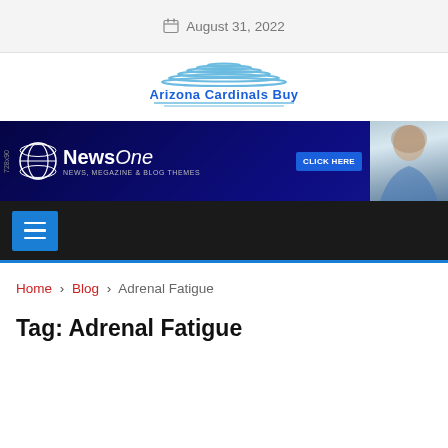August 31, 2022
[Figure (logo): Arizona Cardinals Buy logo with horizontal lines forming a dome shape above the text]
[Figure (screenshot): NewsOne News, Magazine & Blog Themes advertisement banner 728x90 with globe icon, click here button, and woman photo]
[Figure (screenshot): Dark navigation bar with blue hamburger menu button]
Home > Blog > Adrenal Fatigue
Tag: Adrenal Fatigue